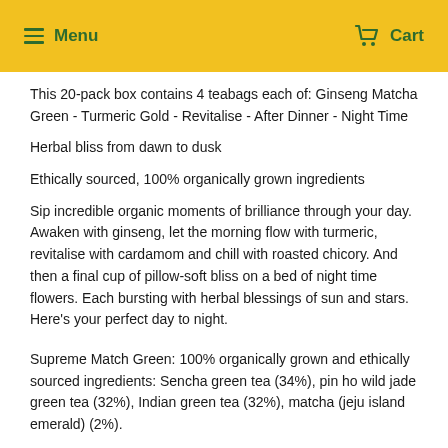Menu   Cart
This 20-pack box contains 4 teabags each of: Ginseng Matcha Green - Turmeric Gold - Revitalise - After Dinner - Night Time
Herbal bliss from dawn to dusk
Ethically sourced, 100% organically grown ingredients
Sip incredible organic moments of brilliance through your day. Awaken with ginseng, let the morning flow with turmeric, revitalise with cardamom and chill with roasted chicory. And then a final cup of pillow-soft bliss on a bed of night time flowers. Each bursting with herbal blessings of sun and stars. Here's your perfect day to night.
Supreme Match Green: 100% organically grown and ethically sourced ingredients: Sencha green tea (34%), pin ho wild jade green tea (32%), Indian green tea (32%), matcha (jeju island emerald) (2%).